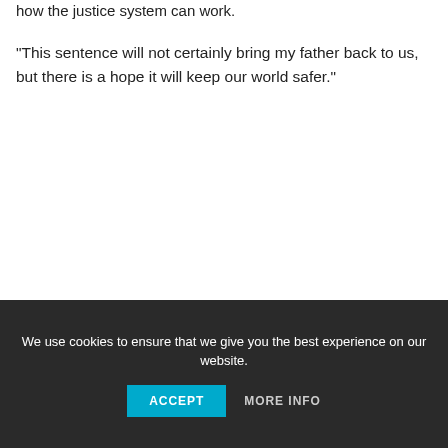how the justice system can work.
“This sentence will not certainly bring my father back to us, but there is a hope it will keep our world safer.”
We use cookies to ensure that we give you the best experience on our website. ACCEPT  MORE INFO